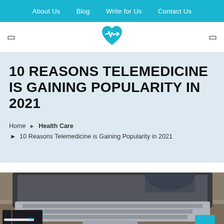About Us  Blog  Write for Us  Contact Us
[Figure (logo): Health/medical website logo: a teal heart shape with a white EKG/arrow line through it]
10 REASONS TELEMEDICINE IS GAINING POPULARITY IN 2021
Home › Health Care
› 10 Reasons Telemedicine is Gaining Popularity in 2021
[Figure (photo): Close-up photograph of a laptop keyboard on a desk, with a notebook and pen visible in the lower left corner]